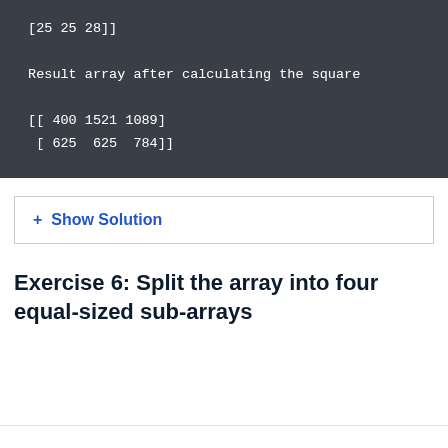[Figure (screenshot): Dark terminal/code output block showing array values: '[25 25 28]]' on first line, 'Result array after calculating the square' on second line, then '[[ 400 1521 1089]' and '[ 625  625  784]]']
+ Show Solution
Exercise 6: Split the array into four equal-sized sub-arrays